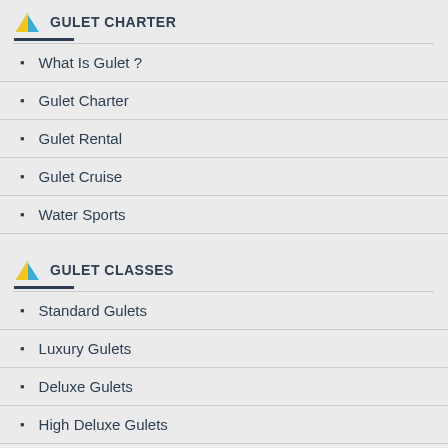GULET CHARTER
What Is Gulet ?
Gulet Charter
Gulet Rental
Gulet Cruise
Water Sports
GULET CLASSES
Standard Gulets
Luxury Gulets
Deluxe Gulets
High Deluxe Gulets
Vip Gulets